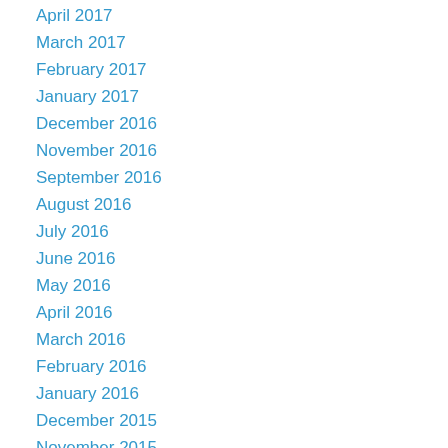April 2017
March 2017
February 2017
January 2017
December 2016
November 2016
September 2016
August 2016
July 2016
June 2016
May 2016
April 2016
March 2016
February 2016
January 2016
December 2015
November 2015
September 2015
August 2015
July 2015